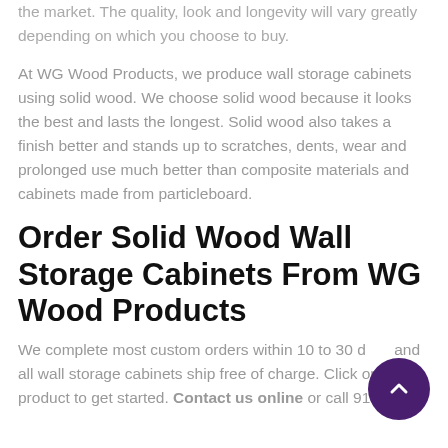the market. The quality, look and longevity will vary greatly depending on which you choose to buy.
At WG Wood Products, we produce wall storage cabinets using solid wood. We choose solid wood because it looks the best and lasts the longest. Solid wood also takes a finish better and stands up to scratches, dents, wear and prolonged use much better than composite materials and cabinets made from particleboard.
Order Solid Wood Wall Storage Cabinets From WG Wood Products
We complete most custom orders within 10 to 30 days and all wall storage cabinets ship free of charge. Click on any product to get started. Contact us online or call 913-